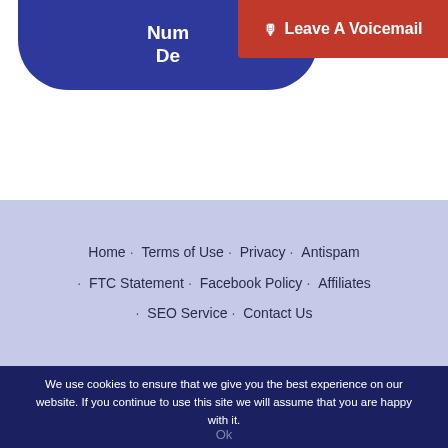[Figure (screenshot): Partial blue pill-shaped banner with white text showing 'De...' at top left, and a red 'Leave A Voicemail' button at top right]
Home · Terms of Use · Privacy · Antispam · FTC Statement · Facebook Policy · Affiliates · SEO Service · Contact Us
We use cookies to ensure that we give you the best experience on our website. If you continue to use this site we will assume that you are happy with it.
Ok